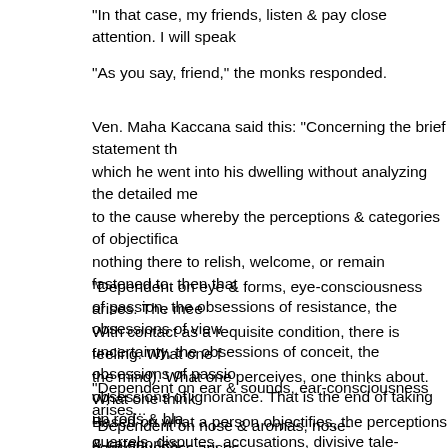"In that case, my friends, listen & pay close attention. I will speak
"As you say, friend," the monks responded.
Ven. Maha Kaccana said this: "Concerning the brief statement th... which he went into his dwelling without analyzing the detailed me... to the cause whereby the perceptions & categories of objectifica... nothing there to relish, welcome, or remain fastened to, then that... of passion, the obsessions of resistance, the obsessions of view... uncertainty, the obsessions of conceit, the obsessions of passio... obsessions of ignorance. That is the end of taking up rods & bla... quarrels, disputes, accusations, divisive tale-bearing, & false spe... unskillful things cease without remainder' — I understand the det
"Dependent on eye & forms, eye-consciousness arises. The mee... With contact as a requisite condition, there is feeling. What one f... the mind). What one perceives, one thinks about. What one think... Based on what a person objectifies, the perceptions & categories... him/her with regard to past, present, & future forms cognizable w
"Dependent on ear & sounds, ear-consciousness arises...
"Dependent on nose & aromas, nose-consciousness arises...